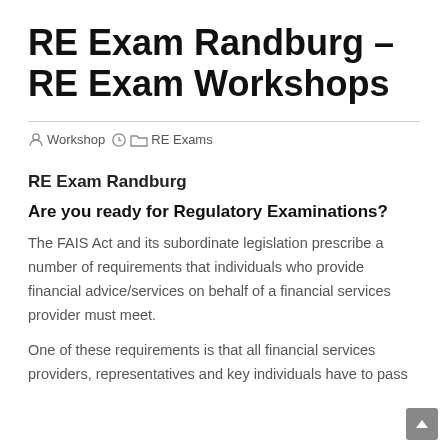RE Exam Randburg – RE Exam Workshops
Workshop  RE Exams
RE Exam Randburg
Are you ready for Regulatory Examinations?
The FAIS Act and its subordinate legislation prescribe a number of requirements that individuals who provide financial advice/services on behalf of a financial services provider must meet.
One of these requirements is that all financial services providers, representatives and key individuals have to pass